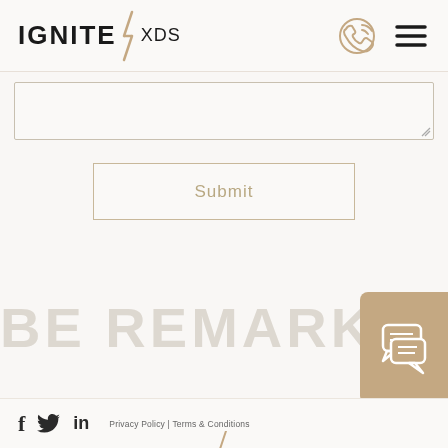[Figure (logo): IGNITE XDS logo with lightning bolt, phone icon and hamburger menu in header]
[Figure (screenshot): Textarea input field (form element, partially visible)]
[Figure (screenshot): Submit button with gold/tan border]
BE REMARKAB...
[Figure (illustration): Chat widget icon (speech bubbles) on tan/gold background square]
f  Twitter  in  Privacy Policy | Terms & Conditions